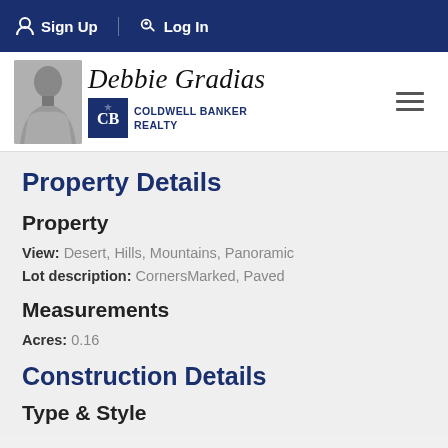Sign Up  Log In
[Figure (logo): Debbie Gradias - Coldwell Banker Realty agent logo with agent photo]
Property Details
Property
View: Desert, Hills, Mountains, Panoramic
Lot description: CornersMarked, Paved
Measurements
Acres: 0.16
Construction Details
Type & Style